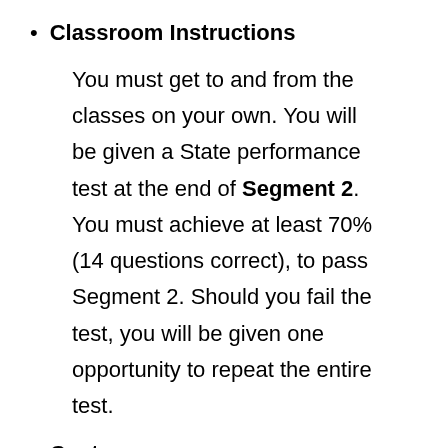Classroom Instructions
You must get to and from the classes on your own. You will be given a State performance test at the end of Segment 2. You must achieve at least 70% (14 questions correct), to pass Segment 2. Should you fail the test, you will be given one opportunity to repeat the entire test.
Cost